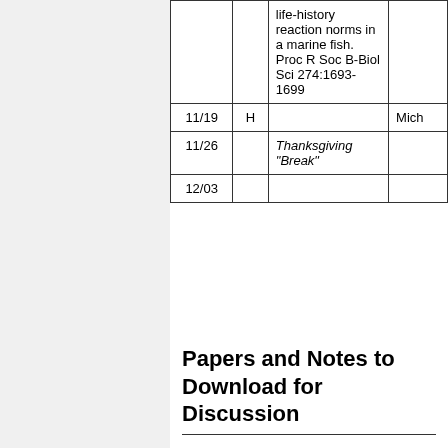| Date | Type | Reading | Presenter |
| --- | --- | --- | --- |
|  |  | life-history reaction norms in a marine fish. Proc R Soc B-Biol Sci 274:1693-1699 |  |
| 11/19 | H |  | Mich… |
| 11/26 |  | Thanksgiving "Break" |  |
| 12/03 |  |  |  |
Papers and Notes to Download for Discussion